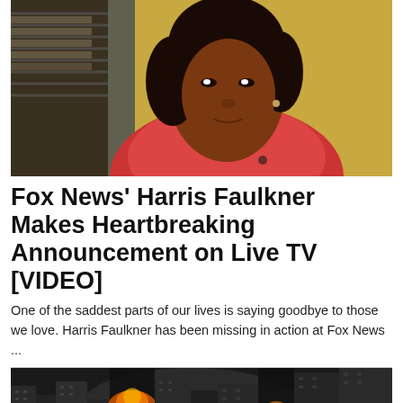[Figure (photo): Portrait photo of a woman (Harris Faulkner) wearing a red top, with dark hair, seated indoors with window blinds visible in background]
Fox News' Harris Faulkner Makes Heartbreaking Announcement on Live TV [VIDEO]
One of the saddest parts of our lives is saying goodbye to those we love. Harris Faulkner has been missing in action at Fox News ...
[Figure (photo): Dark moody cityscape with buildings and fire/explosions visible between skyscrapers]